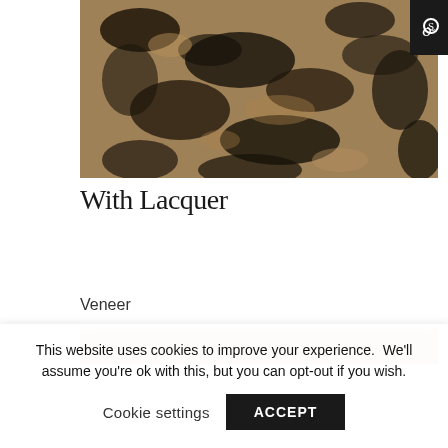[Figure (photo): Close-up of a dark granite or stone texture with black and tan/bronze mottled pattern — product image showing 'With Lacquer' finish]
With Lacquer
Veneer
[Figure (photo): Horizontal strip of a wood veneer texture with tan/beige and light brown grain pattern]
This website uses cookies to improve your experience.  We'll assume you're ok with this, but you can opt-out if you wish.
Cookie settings
ACCEPT